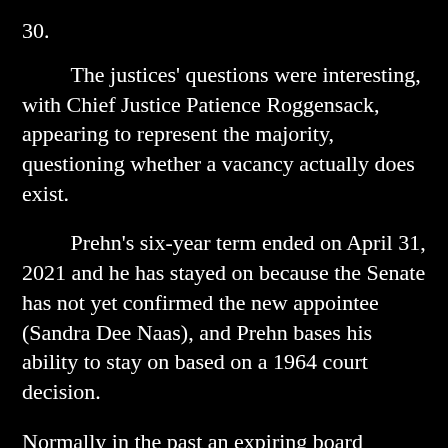30.
The justices' questions were interesting, with Chief Justice Patience Roggensack, appearing to represent the majority, questioning whether a vacancy actually does exist.
Prehn's six-year term ended on April 31, 2021 and he has stayed on because the Senate has not yet confirmed the new appointee (Sandra Dee Naas), and Prehn bases his ability to stay on based on a 1964 court decision.
Normally in the past an expiring board